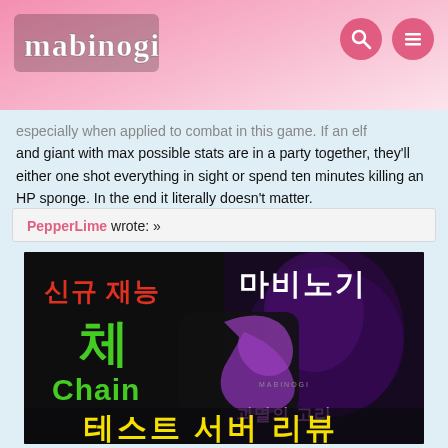mabinogi
especially when applied to combat in this game. If an elf and giant with max possible stats are in a party together, they'll either one shot everything in sight or spend ten minutes killing an HP sponge. In the end it literally doesn't matter.
PepperLime wrote: »
[Figure (screenshot): Korean Mabinogi game promotional image with Korean text: 신규 재능 체 Chain (green/red text on dark background), 마비노기 (white text), 괴멸의 고리 (purple text), 테스트 서버 리뷰 (yellow text at bottom)]